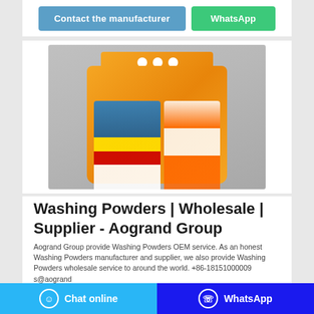Contact the manufacturer
WhatsApp
[Figure (photo): Orange washing powder bag product photo on grey background, brand label visible on front]
Washing Powders | Wholesale | Supplier - Aogrand Group
Aogrand Group provide Washing Powders OEM service. As an honest Washing Powders manufacturer and supplier, we also provide Washing Powders wholesale service to around the world. +86-18151000009 s@aogrand
Chat online
WhatsApp